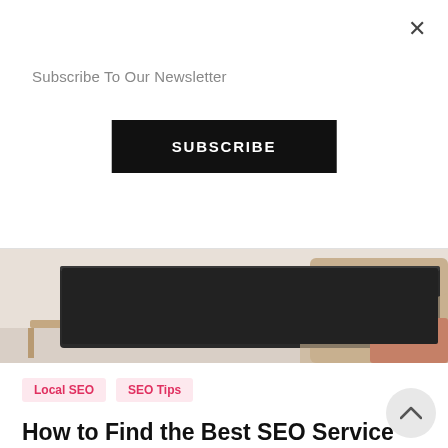×
Subscribe To Our Newsletter
SUBSCRIBE
[Figure (photo): Back of a laptop on a desk with a beige sweater draped over a chair, warm cozy setting]
Local SEO   SEO Tips
How to Find the Best SEO Service Provider
Finding the right SEO service provider is important to the success of your business as it leads to more traffic, increased ranking on the search engine results, higher sales numbers and more revenue for